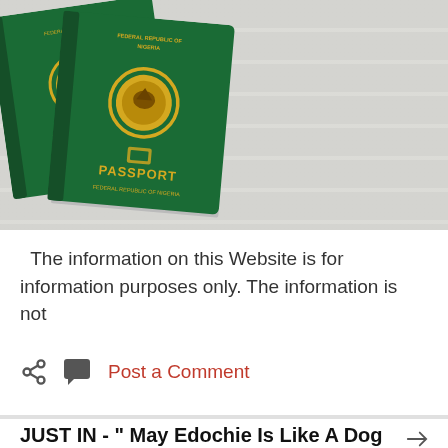[Figure (photo): Two green Nigerian passports (Federal Republic of Nigeria) with gold emblem, placed on a white wooden surface. One passport is open/fanned slightly, one is upright showing 'PASSPORT' text.]
The information on this Website is for information purposes only. The information is not
Post a Comment
JUST IN - " May Edochie Is Like A Dog